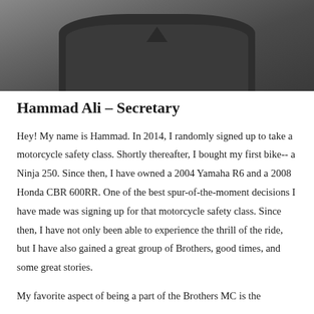[Figure (photo): Partial photo of a person wearing a dark grey/charcoal polo shirt, cropped at the torso and shoulders, with a blurred outdoor background.]
Hammad Ali – Secretary
Hey! My name is Hammad. In 2014, I randomly signed up to take a motorcycle safety class. Shortly thereafter, I bought my first bike-- a Ninja 250. Since then, I have owned a 2004 Yamaha R6 and a 2008 Honda CBR 600RR. One of the best spur-of-the-moment decisions I have made was signing up for that motorcycle safety class. Since then, I have not only been able to experience the thrill of the ride, but I have also gained a great group of Brothers, good times, and some great stories.
My favorite aspect of being a part of the Brothers MC is the